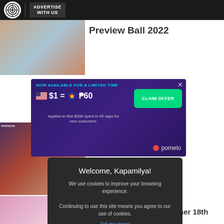ABS-CBN | ADVERTISE WITH US
Preview Ball 2022
[Figure (screenshot): Advertisement banner: NOW AVAILABLE FOR A LIMITED TIME $1 = P60 CLAIM OFFER. Applies to first $500 spent in 45 days for new customers. Pomelo logo.]
encers ock 22...
[Figure (screenshot): Cookie consent modal: Welcome, Kapamilya! We use cookies to improve your browsing experience. Continuing to use this site means you agree to our use of cookies. Tell me more! I AGREE!]
Glamland: Francine Diaz celebrates her 18th birthday